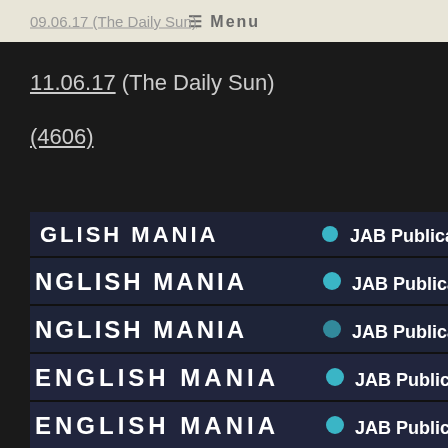≡ Menu
09.06.17 (The Daily Sun)
11.06.17 (The Daily Sun)
(4606)
[Figure (photo): Stack of book spines showing 'ENGLISH MANIA' and 'JAB Publication' branding on dark navy/black covers]